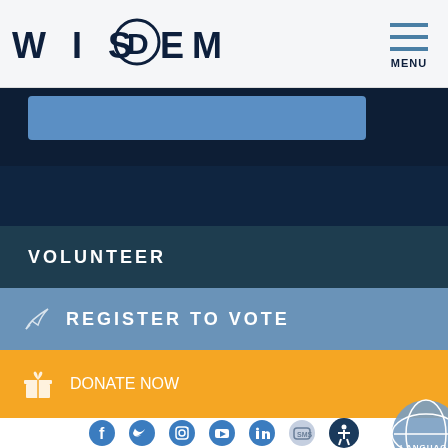WISDEMS
[Figure (screenshot): Navigation menu area with blue button partially visible and dark navy background]
VOLUNTEER
REGISTER TO VOTE
DONATE NOW
[Figure (infographic): Social media icons: Facebook, Twitter, Instagram, YouTube, LinkedIn, SMS, and accessibility icon. Language globe button in bottom right.]